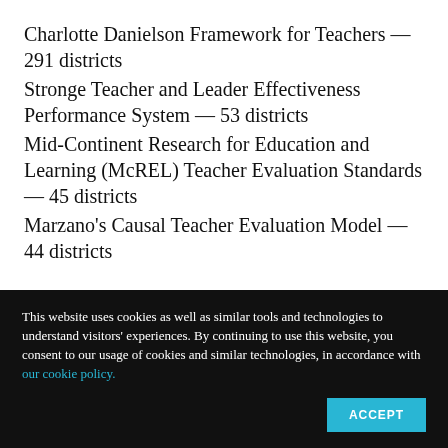Charlotte Danielson Framework for Teachers — 291 districts
Stronge Teacher and Leader Effectiveness Performance System — 53 districts
Mid-Continent Research for Education and Learning (McREL) Teacher Evaluation Standards — 45 districts
Marzano's Causal Teacher Evaluation Model — 44 districts
This website uses cookies as well as similar tools and technologies to understand visitors' experiences. By continuing to use this website, you consent to our usage of cookies and similar technologies, in accordance with our cookie policy.